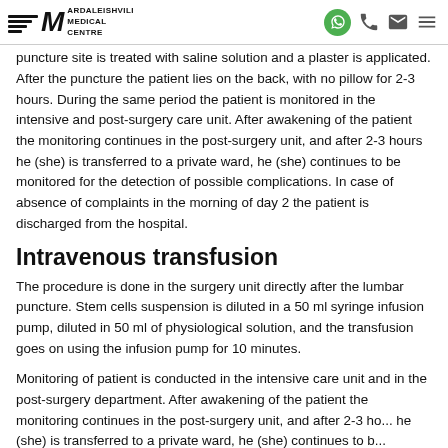Ardaleishvili Medical Centre
puncture site is treated with saline solution and a plaster is applicated. After the puncture the patient lies on the back, with no pillow for 2-3 hours. During the same period the patient is monitored in the intensive and post-surgery care unit. After awakening of the patient the monitoring continues in the post-surgery unit, and after 2-3 hours he (she) is transferred to a private ward, he (she) continues to be monitored for the detection of possible complications. In case of absence of complaints in the morning of day 2 the patient is discharged from the hospital.
Intravenous transfusion
The procedure is done in the surgery unit directly after the lumbar puncture. Stem cells suspension is diluted in a 50 ml syringe infusion pump, diluted in 50 ml of physiological solution, and the transfusion goes on using the infusion pump for 10 minutes.
Monitoring of patient is conducted in the intensive care unit and in the post-surgery department. After awakening of the patient the monitoring continues in the post-surgery unit, and after 2-3 hours he (she) is transferred to a private ward, he (she) continues to b...